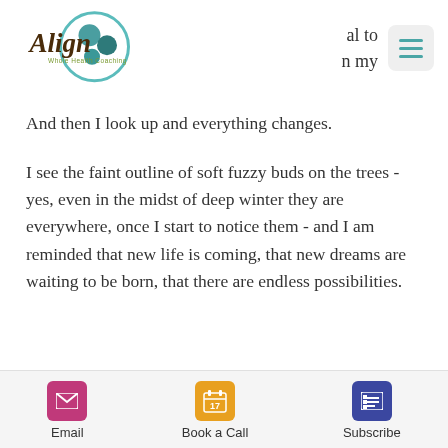[Figure (logo): Align Whole Health Coaching logo with teal circle and decorative script text]
al to
n my
And then I look up and everything changes.
I see the faint outline of soft fuzzy buds on the trees - yes, even in the midst of deep winter they are everywhere, once I start to notice them - and I am reminded that new life is coming, that new dreams are waiting to be born, that there are endless possibilities.
Email   Book a Call   Subscribe